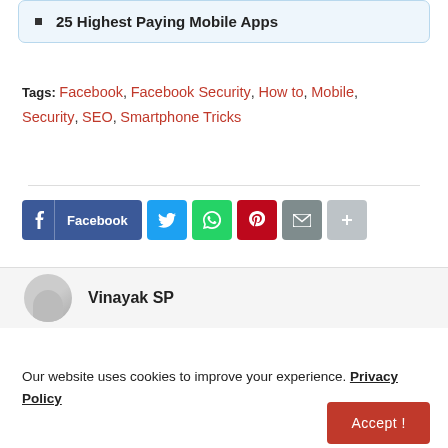25 Highest Paying Mobile Apps
Tags: Facebook, Facebook Security, How to, Mobile, Security, SEO, Smartphone Tricks
[Figure (other): Social share buttons: Facebook, Twitter, WhatsApp, Pinterest, Email, More]
Vinayak SP
Our website uses cookies to improve your experience. Privacy Policy
Accept !